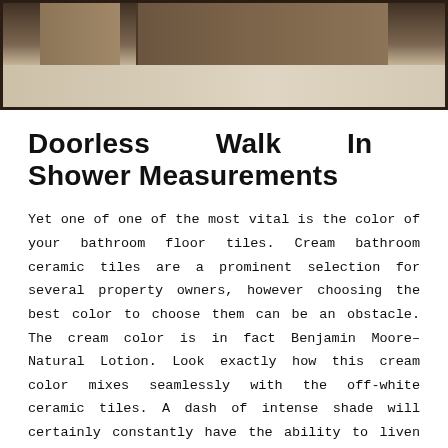[Figure (photo): Bathroom interior photo showing a walk-in shower area with cream/neutral floor tiles and dark wood cabinetry, viewed from above at an angle. The floor has large light-colored ceramic tiles and the cabinetry is dark brown wood.]
Doorless Walk In Shower Measurements
Yet one of one of the most vital is the color of your bathroom floor tiles. Cream bathroom ceramic tiles are a prominent selection for several property owners, however choosing the best color to choose them can be an obstacle.
The cream color is in fact Benjamin Moore– Natural Lotion. Look exactly how this cream color mixes seamlessly with the off-white ceramic tiles. A dash of intense shade will certainly constantly have the ability to liven up the space, producing a much more cheerful area that deals with the simplicity of a neutral color